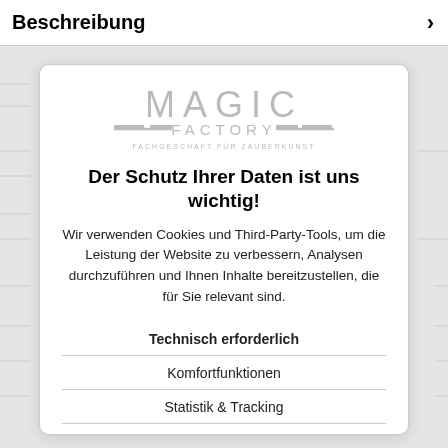Beschreibung
[Figure (logo): Magic Factory logo — MAGIC in large letters, FACTORY below with decorative lines, subtitle FACHGESCHÄFT FÜR ZAUBERKUNST]
Der Schutz Ihrer Daten ist uns wichtig!
Wir verwenden Cookies und Third-Party-Tools, um die Leistung der Website zu verbessern, Analysen durchzuführen und Ihnen Inhalte bereitzustellen, die für Sie relevant sind.
Technisch erforderlich
Komfortfunktionen
Statistik & Tracking